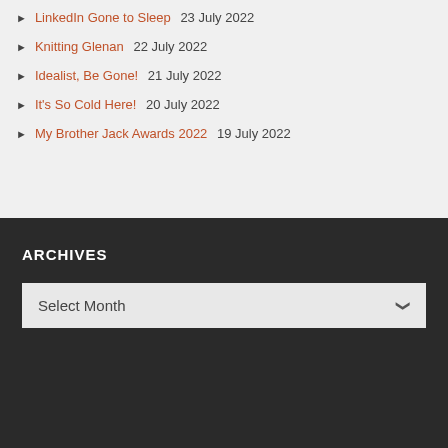LinkedIn Gone to Sleep 23 July 2022
Knitting Glenan 22 July 2022
Idealist, Be Gone! 21 July 2022
It's So Cold Here! 20 July 2022
My Brother Jack Awards 2022 19 July 2022
ARCHIVES
Select Month